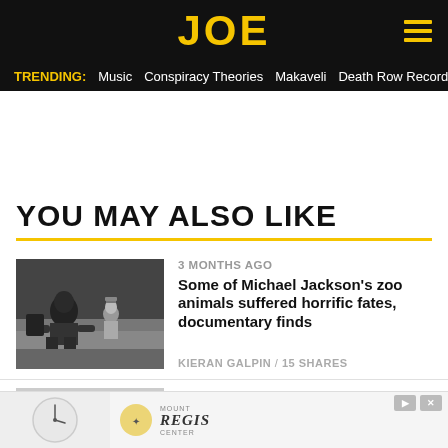JOE
TRENDING: Music  Conspiracy Theories  Makaveli  Death Row Records  2Pac
YOU MAY ALSO LIKE
[Figure (photo): Black and white photo of Michael Jackson with zoo animal puppets/dolls]
3 MONTHS AGO
Some of Michael Jackson's zoo animals suffered horrific fates, documentary finds
KIERAN GALPIN / 15 SHARES
[Figure (photo): Partial image of second article]
1 YEAR AGO
[Figure (screenshot): Bottom advertisement banner with clock image and Mount Regis Center logo]